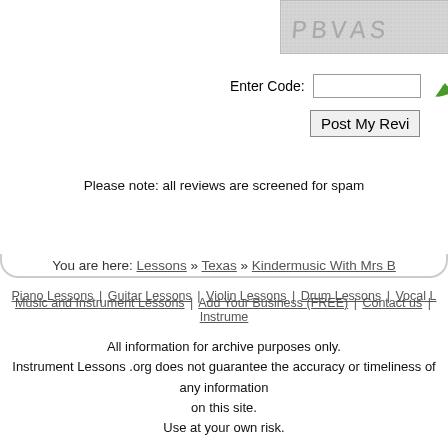[Figure (other): CAPTCHA image with text PBVAS on gray dotted background]
Enter Code:
[Figure (illustration): Green curved arrow pointing left]
Post My Review
Please note: all reviews are screened for spam
You are here: Lessons » Texas » Kindermusic With Mrs B
Piano Lessons | Guitar Lessons | Violin Lessons | Drum Lessons | Vocal L
Music and Instrument Lessons | Add Your Business (FREE) | Contact us | Instrume
All information for archive purposes only.
Instrument Lessons .org does not guarantee the accuracy or timeliness of any information on this site.
Use at your own risk.